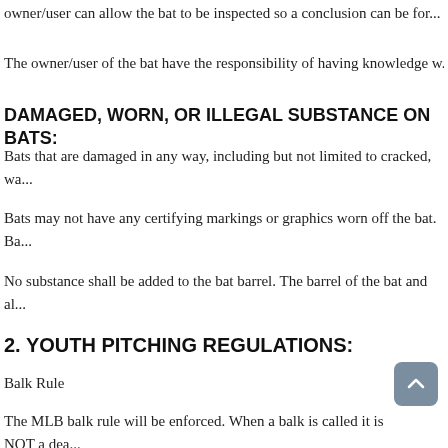owner/user can allow the bat to be inspected so a conclusion can be for...
The owner/user of the bat have the responsibility of having knowledge w...
DAMAGED, WORN, OR ILLEGAL SUBSTANCE ON BATS:
Bats that are damaged in any way, including but not limited to cracked, wa... sanctioned events.
Bats may not have any certifying markings or graphics worn off the bat. Ba... play.
No substance shall be added to the bat barrel. The barrel of the bat and al... substance is discovered as being used or identifying marks on the bat are...
2. YOUTH PITCHING REGULATIONS:
Balk Rule
The MLB balk rule will be enforced. When a balk is called it is NOT a dea... taking the called balk or the result of the play. The balk is not considere...